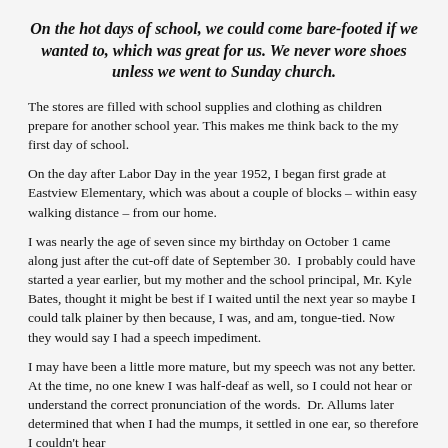On the hot days of school, we could come bare-footed if we wanted to, which was great for us. We never wore shoes unless we went to Sunday church.
The stores are filled with school supplies and clothing as children prepare for another school year. This makes me think back to the my first day of school.
On the day after Labor Day in the year 1952, I began first grade at Eastview Elementary, which was about a couple of blocks – within easy walking distance – from our home.
I was nearly the age of seven since my birthday on October 1 came along just after the cut-off date of September 30.  I probably could have started a year earlier, but my mother and the school principal, Mr. Kyle Bates, thought it might be best if I waited until the next year so maybe I could talk plainer by then because, I was, and am, tongue-tied. Now they would say I had a speech impediment.
I may have been a little more mature, but my speech was not any better.  At the time, no one knew I was half-deaf as well, so I could not hear or understand the correct pronunciation of the words.  Dr. Allums later determined that when I had the mumps, it settled in one ear, so therefore I couldn't hear